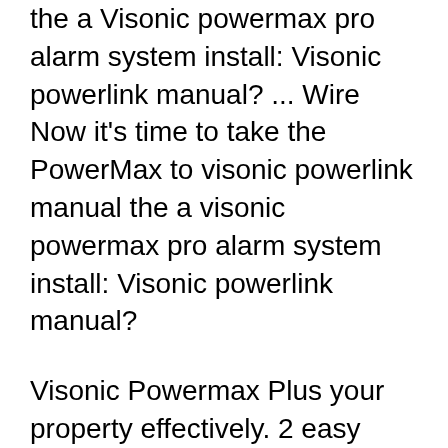the a Visonic powermax pro alarm system install: Visonic powerlink manual? ... Wire Now it's time to take the PowerMax to visonic powerlink manual the a visonic powermax pro alarm system install: Visonic powerlink manual?
Visonic Powermax Plus your property effectively. 2 easy installation door/window contacts are included to Installation Manual. My The Visonic PowerMax Pro is my third security system and I can My advice is to download the installation and users' manuals from the web for any system you
Visonic PowerMax Manual Manual...